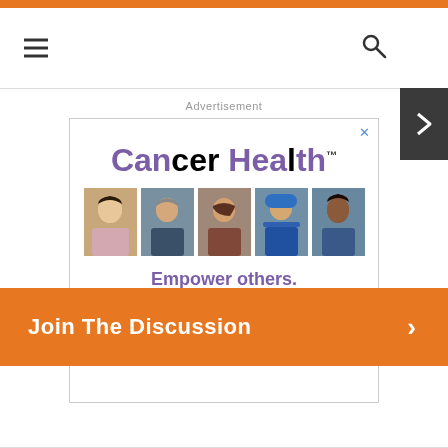Navigation bar with hamburger menu and search icon
Advertisement
[Figure (illustration): Cancer Health advertisement showing the Cancer Health logo in purple and black, a strip of 5 photos of diverse people, and text: 'Empower others. Share your story at cancerhealth.com/stories']
Join The Discussion